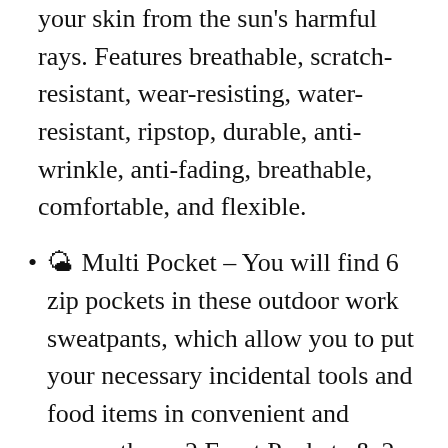your skin from the sun's harmful rays. Features breathable, scratch-resistant, wear-resisting, water-resistant, ripstop, durable, anti-wrinkle, anti-fading, breathable, comfortable, and flexible.
🌤 Multi Pocket – You will find 6 zip pockets in these outdoor work sweatpants, which allow you to put your necessary incidental tools and food items in convenient and secure there. 2 Front Pockets & 2 Back Pockets & 2 Side Pockets. Keep your valuables secure in outdoor activities.
🌤 Elastic Waist – Mens Lightweight waterproof hiking pants is designed